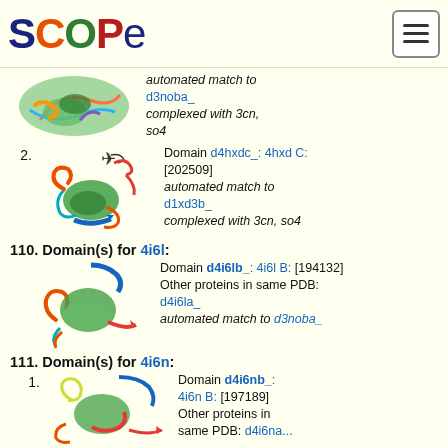SCOPe
automated match to d3noba_ complexed with 3cn, so4
2. Domain d4hxdc_: 4hxd C: [202509] automated match to d1xd3b_ complexed with 3cn, so4
110. Domain(s) for 4i6l:
Domain d4i6lb_: 4i6l B: [194132] Other proteins in same PDB: d4i6la_ automated match to d3noba_
111. Domain(s) for 4i6n:
1. Domain d4i6nb_: 4i6n B: [197189] Other proteins in same PDB: d4i6na...